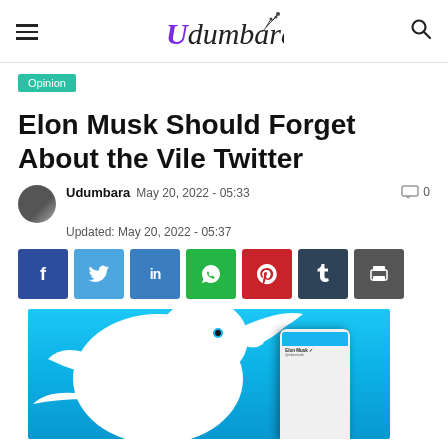Udumbara
Opinion
Elon Musk Should Forget About the Vile Twitter
Udumbara  May 20, 2022 - 05:33  Updated: May 20, 2022 - 05:37  0
[Figure (infographic): Social share buttons: Facebook, Twitter, LinkedIn, WhatsApp, Pinterest, Tumblr, Print]
[Figure (photo): A white 3D Twitter bird logo on a blue background with a smartphone showing Elon Musk's Twitter profile in the foreground]